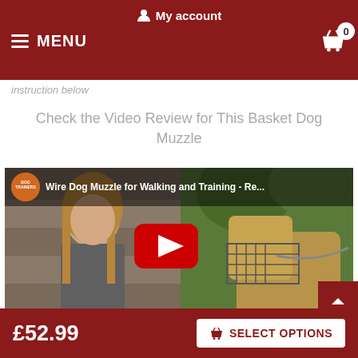My account
MENU
instruction below
Check the Video Review for This Basket Dog Muzzle
[Figure (screenshot): YouTube video thumbnail showing a woman and a dog wearing a wire basket muzzle, with channel logo and title 'Wire Dog Muzzle for Walking and Training - Re...' and a red YouTube play button in the center]
£52.99
SELECT OPTIONS